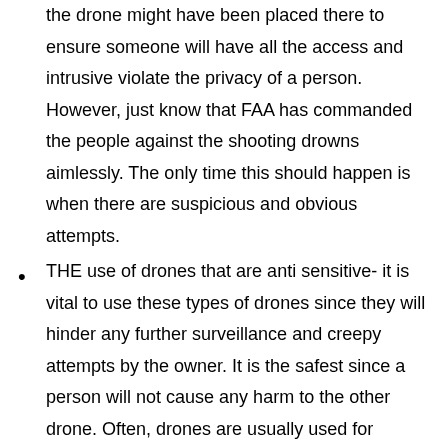the drone might have been placed there to ensure someone will have all the access and intrusive violate the privacy of a person. However, just know that FAA has commanded the people against the shooting drowns aimlessly. The only time this should happen is when there are suspicious and obvious attempts.
THE use of drones that are anti sensitive- it is vital to use these types of drones since they will hinder any further surveillance and creepy attempts by the owner. It is the safest since a person will not cause any harm to the other drone. Often, drones are usually used for different purposes something that can be misinterpreted when seen in other places. Often, the drones could be something that will show a landscape and if they happen to be around your property, you could take that out of context.
Using the net anti-firing drones- the best part about this process is that you get a glimpse of what it feels like to have the best control over the property. In case you are having